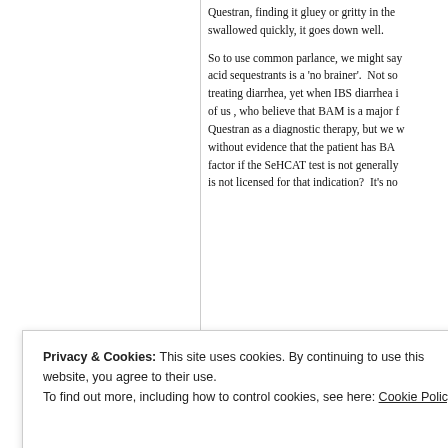Questran, finding it gluey or gritty in the mouth, but if swallowed quickly, it goes down well.
So to use common parlance, we might say that using bile acid sequestrants is a 'no brainer'. Not so for treating diarrhea, yet when IBS diarrhea i... of us , who believe that BAM is a major f... Questran as a diagnostic therapy, but we w... without evidence that the patient has BA... factor if the SeHCAT test is not generally... is not licensed for that indication? It's no...
Privacy & Cookies: This site uses cookies. By continuing to use this website, you agree to their use.
To find out more, including how to control cookies, see here: Cookie Policy
Close and accept
might be associated with a primary def...